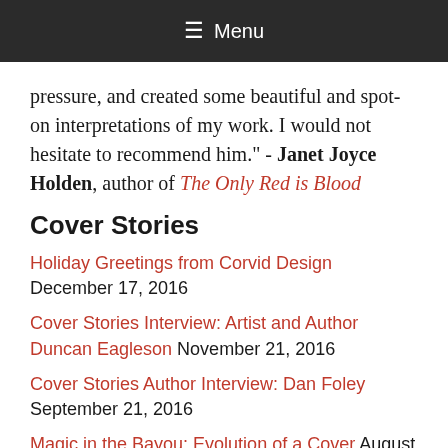≡ Menu
pressure, and created some beautiful and spot-on interpretations of my work. I would not hesitate to recommend him." - Janet Joyce Holden, author of The Only Red is Blood
Cover Stories
Holiday Greetings from Corvid Design December 17, 2016
Cover Stories Interview: Artist and Author Duncan Eagleson November 21, 2016
Cover Stories Author Interview: Dan Foley September 21, 2016
Magic in the Bayou: Evolution of a Cover August 31, 2016